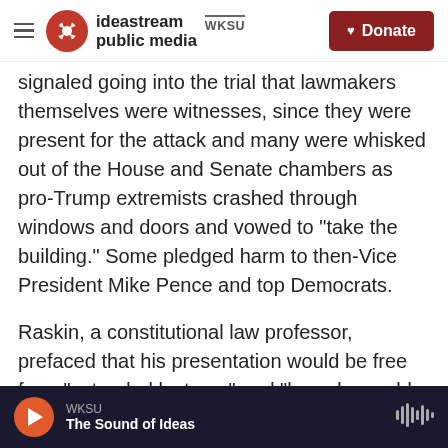ideastream public media WKSU | Donate
signaled going into the trial that lawmakers themselves were witnesses, since they were present for the attack and many were whisked out of the House and Senate chambers as pro-Trump extremists crashed through windows and doors and vowed to "take the building." Some pledged harm to then-Vice President Mike Pence and top Democrats.
Raskin, a constitutional law professor, prefaced that his presentation would be free from "extended lectures" and "based on cold, hard facts." He then rolled a highly produced video that he said depicted
WKSU | The Sound of Ideas